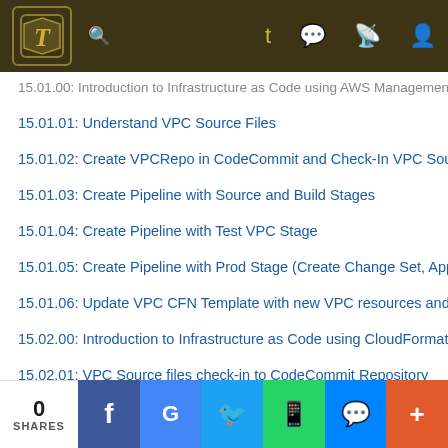Navigation bar with logo, search, and social icons
15.01.00: Introduction to Infrastructure as Code using AWS Management Console
15.01.01: Understand VPC Source Files
15.01.02: Create VPCRepo in CodeCommit and Check-In VPC Source files
15.01.03: Create Pipeline with Source and Build Stages
15.01.04: Create Pipeline with Test VPC Stage
15.01.05: Create Pipeline with Prod Stage (Create Change Set, Approval, Execute)
15.01.06: Update VPC CFN Template with new VPC resources and check-in code
15.02.00: Introduction to Infrastructure as Code using CloudFormation
15.02.01: VPC Source files check-in to CodeCommit Repository
15.02.02: Create CodeBuild Role and CodeBuild Project in CFN Template
0 SHARES | Facebook | Google+ | Twitter | WhatsApp | Messenger | More